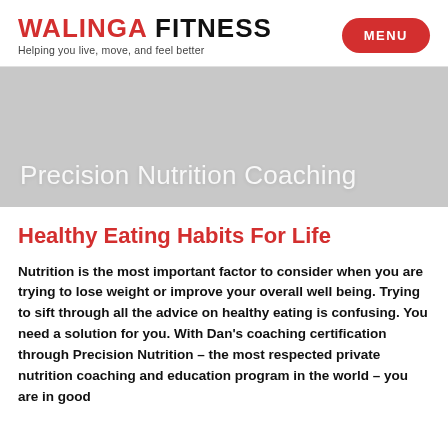WALINGA FITNESS — Helping you live, move, and feel better
Precision Nutrition Coaching
Healthy Eating Habits For Life
Nutrition is the most important factor to consider when you are trying to lose weight or improve your overall well being. Trying to sift through all the advice on healthy eating is confusing. You need a solution for you. With Dan's coaching certification through Precision Nutrition – the most respected private nutrition coaching and education program in the world – you are in good